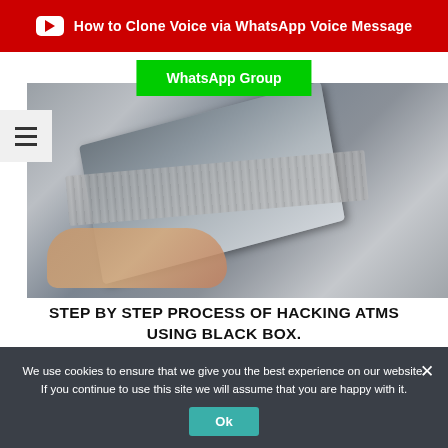How to Clone Voice via WhatsApp Voice Message
WhatsApp Group
[Figure (photo): Close-up photo of a hand near an ATM card reader/skimmer device attached to an ATM machine]
STEP BY STEP PROCESS OF HACKING ATMS USING BLACK BOX. ATM JACKPOTTING
[Figure (infographic): Row of social media icons: Facebook, Twitter, YouTube, Telegram, Foursquare]
We use cookies to ensure that we give you the best experience on our website. If you continue to use this site we will assume that you are happy with it.
Ok